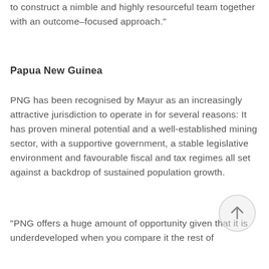to construct a nimble and highly resourceful team together with an outcome–focused approach."
Papua New Guinea
PNG has been recognised by Mayur as an increasingly attractive jurisdiction to operate in for several reasons: It has proven mineral potential and a well-established mining sector, with a supportive government, a stable legislative environment and favourable fiscal and tax regimes all set against a backdrop of sustained population growth.
"PNG offers a huge amount of opportunity given that it is underdeveloped when you compare it the rest of